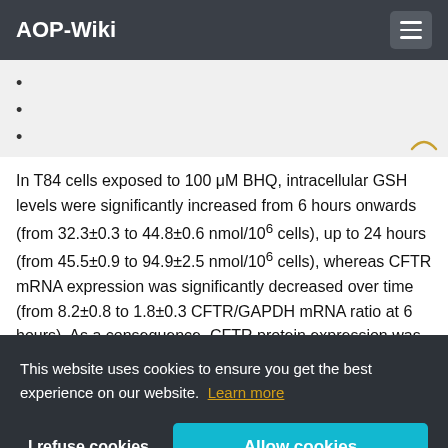AOP-Wiki
•
•
•
In T84 cells exposed to 100 μM BHQ, intracellular GSH levels were significantly increased from 6 hours onwards (from 32.3±0.3 to 44.8±0.6 nmol/10⁶ cells), up to 24 hours (from 45.5±0.9 to 94.9±2.5 nmol/10⁶ cells), whereas CFTR mRNA expression was significantly decreased over time (from 8.2±0.8 to 1.8±0.3 CFTR/GAPDH mRNA ratio at 6 hours). As a consequence, CFTR protein expression was signifi... 100 μ... CFTR... 2006...
This website uses cookies to ensure you get the best experience on our website. Learn more
I refuse cookies
Allow cookies